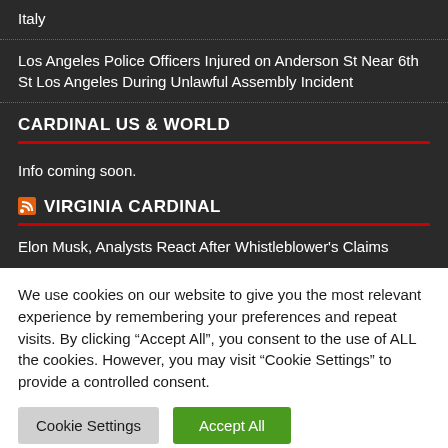Italy
Los Angeles Police Officers Injured on Anderson St Near 6th St Los Angeles During Unlawful Assembly Incident
CARDINAL US & WORLD
Info coming soon.
VIRGINIA CARDINAL
Elon Musk, Analysts React After Whistleblower's Claims
We use cookies on our website to give you the most relevant experience by remembering your preferences and repeat visits. By clicking “Accept All”, you consent to the use of ALL the cookies. However, you may visit "Cookie Settings" to provide a controlled consent.
Cookie Settings  Accept All